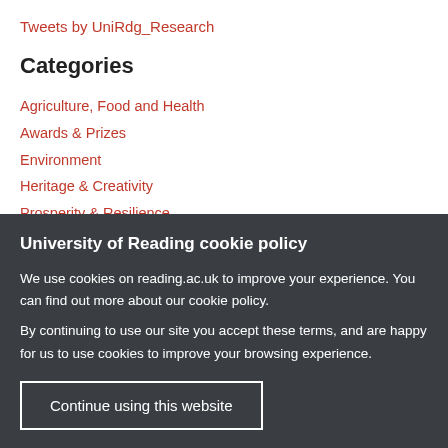Tweets by UniRdg_Research
Categories
Agriculture, Food and Health
Awards & Prizes
Environment
Heritage & Creativity
Prosperity & Resilience
Uncategorised
University of Reading cookie policy
We use cookies on reading.ac.uk to improve your experience. You can find out more about our cookie policy.
By continuing to use our site you accept these terms, and are happy for us to use cookies to improve your browsing experience.
Continue using this website